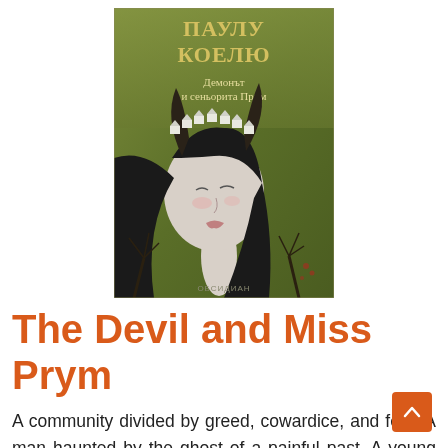[Figure (illustration): Book cover of 'The Devil and Miss Prym' (Bulgarian edition, publisher Obsidian). Shows a pale woman with long black hair and bull horns, wearing a crown of small white houses, against an olive-green background with bare winter trees. Author name 'ПАУЛУ КОЕЛЮ' in gold at top, subtitle 'Демонът и сеньорита Прим' in cream text, and publisher name 'ОБСИДИАН' at bottom.]
The Devil and Miss Prym
A community divided by greed, cowardice, and fear. A man haunted by the ghost of a painful past. A young woman in search of happiness. Seven days, a short period during